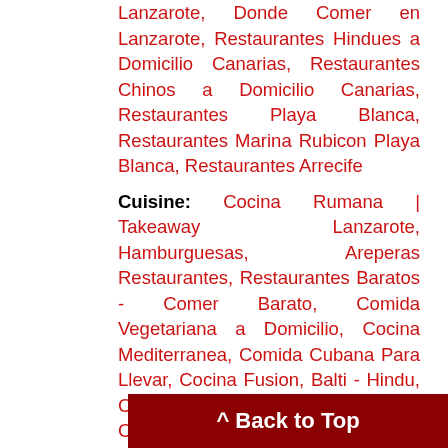Lanzarote, Donde Comer en Lanzarote, Restaurantes Hindues a Domicilio Canarias, Restaurantes Chinos a Domicilio Canarias, Restaurantes Playa Blanca, Restaurantes Marina Rubicon Playa Blanca, Restaurantes Arrecife
Cuisine: Cocina Rumana | Takeaway Lanzarote, Hamburguesas, Areperas Restaurantes, Restaurantes Baratos - Comer Barato, Comida Vegetariana a Domicilio, Cocina Mediterranea, Comida Cubana Para Llevar, Cocina Fusion, Balti - Hindu, Comida Americana a Domicilio, Coffee Shop | Tea Rooms, Cocina Japonesa, Comida Mexicana a Domicilio, Pasteleria - Panaderia, Comida Africana Para llevar, Restaurantes de Marisco, Comida Alemana Para Llevar, Thai - Cocina Oriental, Cafeterias, Cocina Europea, Pizza a Domicilio, Cocina Hindu | Tandoori, Kebab (Para Llevar), Cocina Italiana & Pastas, Cocina Griega, Bares de Cocktails, Cocina Espanola, Cocina Inglesa, Cocina P... Cocina Asiatica Fusion, Cocina China, Cocina
^ Back to Top